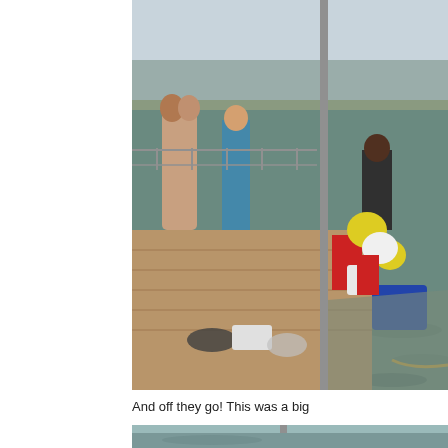[Figure (photo): Outdoor dock scene with people standing on a wooden pier next to a body of water. Several people visible including two embracing on the left, one in a blue tank top, and one person leaning over gear on the right side. The dock has various bags, containers, and colorful equipment including yellow and red items loaded onto what appears to be a small watercraft. Background shows calm open water under a hazy sky.]
And off they go! This was a big
[Figure (photo): Bottom portion of another outdoor photo, partially visible, showing water and a vertical pole or mast structure.]